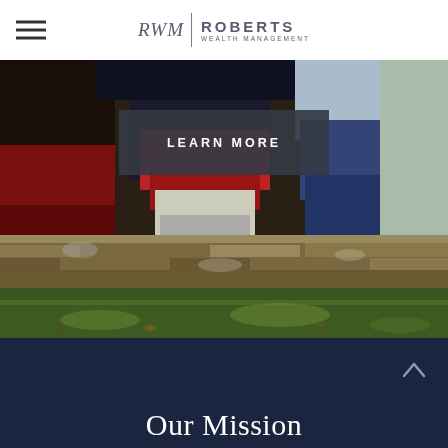RWM | ROBERTS WEALTH MANAGEMENT
[Figure (photo): Photo of people sitting on a stone wall with grass below, viewed from behind showing their feet and lower legs in colorful clothing]
LEARN MORE
Our Mission